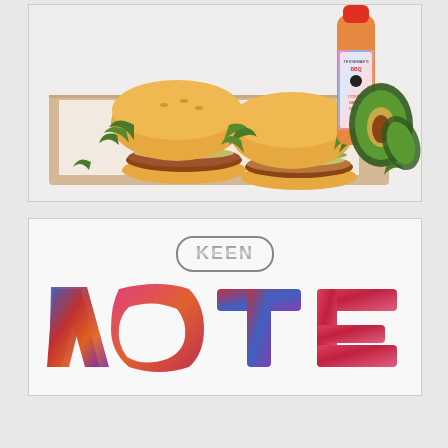[Figure (photo): Food photography showing two chicken or turkey burgers on buns with green watercress/arugula and avocado slices, on a wooden board with parchment paper. A bottle of Tessemae's BBQ Cosmic Berry Sauce with colorful tie-dye label and red cap is visible on the right side. A halved avocado is also visible in the background right.]
[Figure (photo): KEEN footwear brand advertisement showing the KEEN logo in grey metallic style at the top center, and large colorful tie-dye patterned text spelling VOTE in red, blue, orange, and pink colors filling the lower portion of the image.]